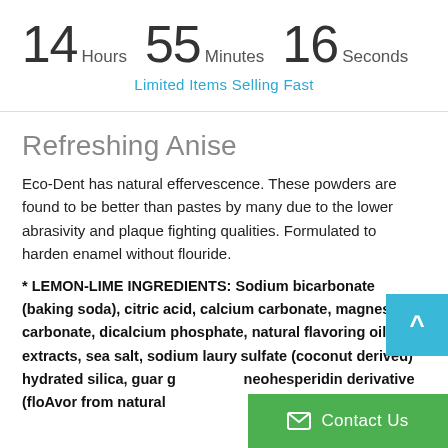14 Hours 55 Minutes 16 Seconds
Limited Items Selling Fast
Refreshing Anise
Eco-Dent has natural effervescence. These powders are found to be better than pastes by many due to the lower abrasivity and plaque fighting qualities. Formulated to harden enamel without flouride.
* LEMON-LIME INGREDIENTS: Sodium bicarbonate (baking soda), citric acid, calcium carbonate, magnesium carbonate, dicalcium phosphate, natural flavoring oils and extracts, sea salt, sodium lauryl sulfate (coconut derived) hydrated silica, guar g... neohesperidin derivative (floAvor from natural